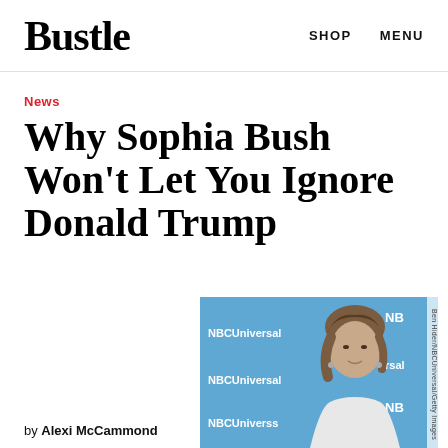Bustle | SHOP MENU
News
Why Sophia Bush Won't Let You Ignore Donald Trump
[Figure (photo): Photo of Sophia Bush at an NBCUniversal event, standing in front of a blue NBCUniversal branded backdrop, wearing a white dress]
by Alexi McCammond